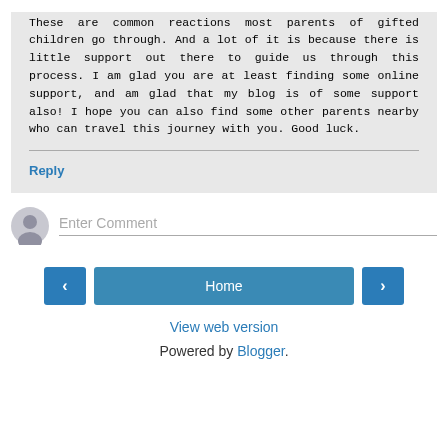These are common reactions most parents of gifted children go through. And a lot of it is because there is little support out there to guide us through this process. I am glad you are at least finding some online support, and am glad that my blog is of some support also! I hope you can also find some other parents nearby who can travel this journey with you. Good luck.
Reply
Enter Comment
Home
View web version
Powered by Blogger.